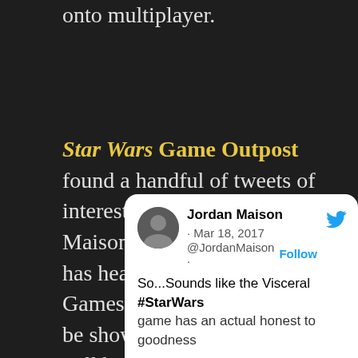onto multiplayer.
Star Wars Game Outpost found a handful of tweets of interest, mostly from Jordan Maison of Cinelinx. Maison has heard that the Visceral Games title is finally ready to be shown, but Battlefront 2 will be EA's biggest focus this year.
[Figure (screenshot): Twitter/X tweet card by Jordan Maison dated Mar 18, 2017, @JordanMaison with Follow button. Tweet text begins: So...Sounds like the Visceral #StarWars game has an actual honest to goodness...]